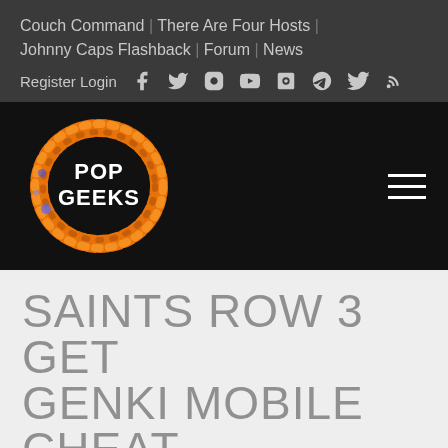Couch Command | There Are Four Hosts | Johnny Caps Flashback | Forum | News
Register Login
[Figure (logo): Pop Geeks logo — circular orange flame ring with white text POP GEEKS on black background]
SAINTS ROW 3 GET GENKI MOBILE CHEAT
[Figure (screenshot): Thumbnail screenshot from Saints Row The Third game showing character in colorful environment]
SEPTEMBER 29, 2011
Saints Row The